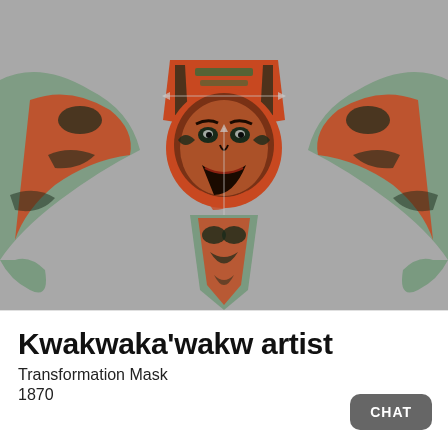[Figure (photo): Kwakwaka'wakw Transformation Mask, 1870. Painted wooden mask with wide outstretched wings decorated with Northwest Coast Indigenous designs in red, black, and green. A central human-like face with open mouth, with large bird-wing extensions and a lower chest/beak section. Photograph taken against a grey background.]
Kwakwaka'wakw artist
Transformation Mask
1870
CHAT